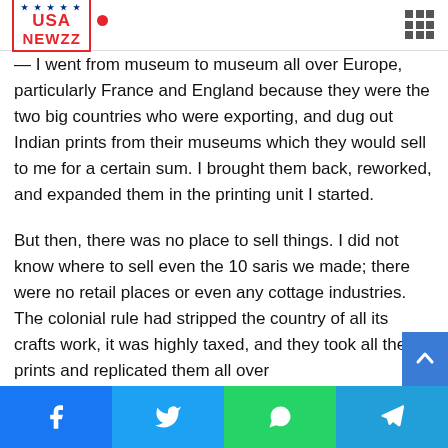USA NEWZZ
and perhaps around the world. But, we didn't have books or record of what was being made in Bengal 200 years back. So, I embarked on a strange journey — I went from museum to museum all over Europe, particularly France and England because they were the two big countries who were exporting, and dug out Indian prints from their museums which they would sell to me for a certain sum. I brought them back, reworked, and expanded them in the printing unit I started.
But then, there was no place to sell things. I did not know where to sell even the 10 saris we made; there were no retail places or even any cottage industries. The colonial rule had stripped the country of all its crafts work, it was highly taxed, and they took all these prints and replicated them all over